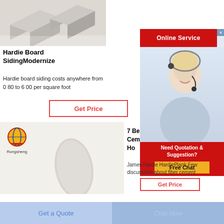[Figure (photo): Gray fiber cement or Hardie board siding blocks arranged in a stack on white background]
Hardie Board SidingModernize
Hardie board siding costs anywhere from 0 80 to 6 00 per square foot
Get Price
[Figure (photo): Rongsheng branded product image showing white powdery material in an elongated oval/bullet shape on light background. Rongsheng logo (globe with ribbon) and text in top left.]
[Figure (photo): Online Service chat widget showing a smiling blonde woman with headset, red Online Service banner at top, and red Need Quotation & Suggestion? banner with yellow Free Chat button at bottom]
7 Be... Cem... Ho...
James Hardie HardiePlank Few discussions about fiber cement
Get Price
Get a Quote
Chat Now